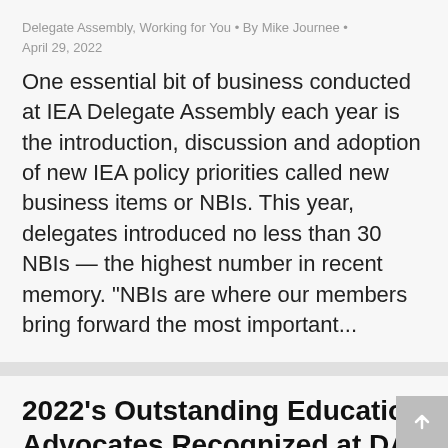Delegate Assembly, Working for You • By Mike Journee • April 29, 2022
One essential bit of business conducted at IEA Delegate Assembly each year is the introduction, discussion and adoption of new IEA policy priorities called new business items or NBIs. This year, delegates introduced no less than 30 NBIs — the highest number in recent memory. “NBIs are where our members bring forward the most important...
2022’s Outstanding Education Advocates Recognized at DA
Delegate Assembly, Working for You • By Mike Journee • April 29, 2022